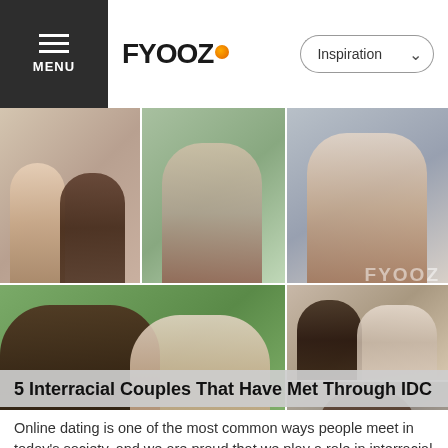FYOOZ | Inspiration
[Figure (photo): Grid of interracial couples photos - 5 couple photos arranged in two rows]
5 Interracial Couples That Have Met Through IDC
Online dating is one of the most common ways people meet in today's society, and we are proud that we play a role in interracial couples' success stories! We love when couples...
[Figure (photo): Outdoor photo of a couple, woman with tiara/crown, park background with green trees]